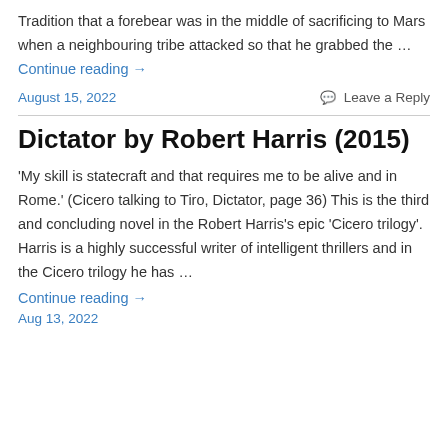Tradition that a forebear was in the middle of sacrificing to Mars when a neighbouring tribe attacked so that he grabbed the … Continue reading →
August 15, 2022    Leave a Reply
Dictator by Robert Harris (2015)
'My skill is statecraft and that requires me to be alive and in Rome.' (Cicero talking to Tiro, Dictator, page 36) This is the third and concluding novel in the Robert Harris's epic 'Cicero trilogy'. Harris is a highly successful writer of intelligent thrillers and in the Cicero trilogy he has … Continue reading →
Aug 13, 2022